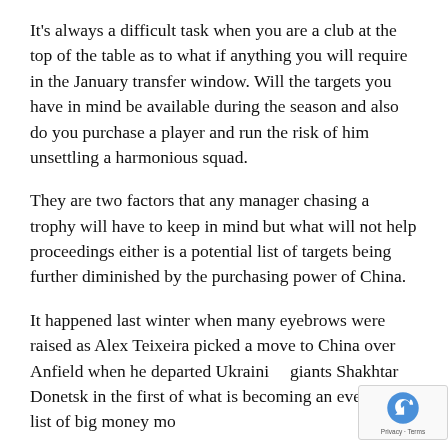It's always a difficult task when you are a club at the top of the table as to what if anything you will require in the January transfer window. Will the targets you have in mind be available during the season and also do you purchase a player and run the risk of him unsettling a harmonious squad.
They are two factors that any manager chasing a trophy will have to keep in mind but what will not help proceedings either is a potential list of targets being further diminished by the purchasing power of China.
It happened last winter when many eyebrows were raised as Alex Teixeira picked a move to China over Anfield when he departed Ukrainian giants Shakhtar Donetsk in the first of what is becoming an ever longer list of big money moves